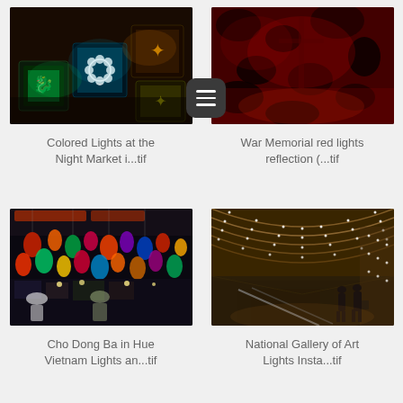[Figure (photo): Colorful illuminated lanterns at a night market, square lanterns with decorative patterns in green, teal, white, and yellow light]
Colored Lights at the
Night Market i...tif
[Figure (photo): War memorial with red lights reflected on a dark textured surface]
War Memorial red lights
reflection (...tif
[Figure (photo): Cho Dong Ba market in Hue Vietnam with colorful hanging lanterns and crowd of people]
Cho Dong Ba in Hue
Vietnam Lights an...tif
[Figure (photo): National Gallery of Art interior with curved ceiling of LED lights and silhouettes of people on an escalator]
National Gallery of Art
Lights Insta...tif